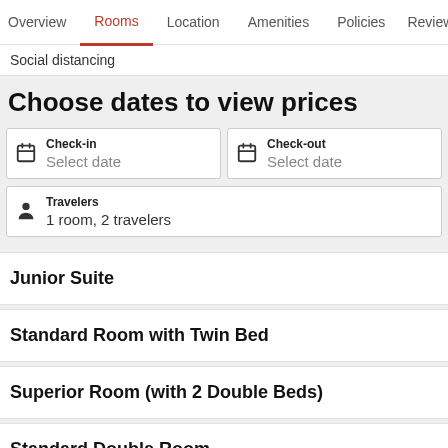Overview  Rooms  Location  Amenities  Policies  Reviews
Social distancing
Choose dates to view prices
Check-in  Select date
Check-out  Select date
Travelers  1 room, 2 travelers
Junior Suite
Standard Room with Twin Bed
Superior Room (with 2 Double Beds)
Standard Double Room